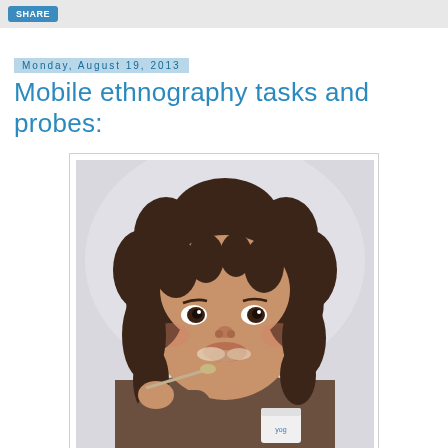SHARE
Monday, August 19, 2013
Mobile ethnography tasks and probes:
[Figure (photo): A young toddler girl with curly brown hair eating yogurt with a spoon, looking sideways at the camera. She is wearing a brown long-sleeve shirt and holding a small white yogurt container. Her face has yogurt smeared around her mouth.]